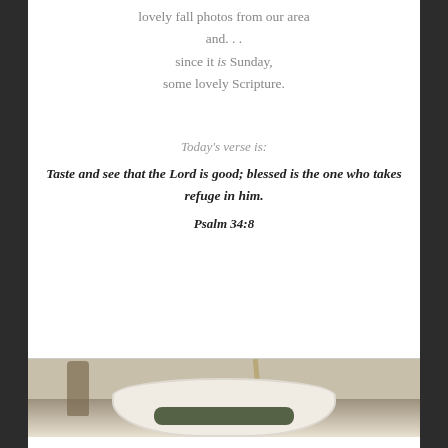lovely fall photos from our area and… since it is Sunday, some lovely Scripture.
Today's verse is:
Taste and see that the Lord is good; blessed is the one who takes refuge in him.
Psalm 34:8
[Figure (photo): A white bowl containing dark leafy food, with a bottle and stick/skewer in the background, on a muted brown/green background.]